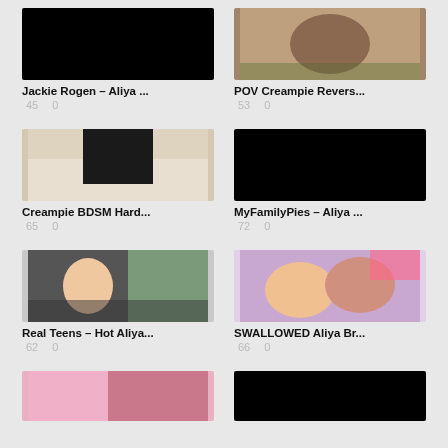[Figure (photo): Black thumbnail image]
Jackie Rogen – Aliya ...
45    0
[Figure (photo): Photo thumbnail of video]
POV Creampie Revers...
53    0
[Figure (photo): Photo thumbnail of video with person in black clothing]
Creampie BDSM Hard...
65    0
[Figure (photo): Black thumbnail image]
MyFamilyPies – Aliya ...
72    0
[Figure (photo): Photo thumbnail of person in car]
Real Teens – Hot Aliya...
62    0
[Figure (photo): Photo thumbnail with colorful background]
SWALLOWED Aliya Br...
66    0
[Figure (photo): Partial thumbnail visible at bottom left]
[Figure (photo): Black partial thumbnail visible at bottom right]